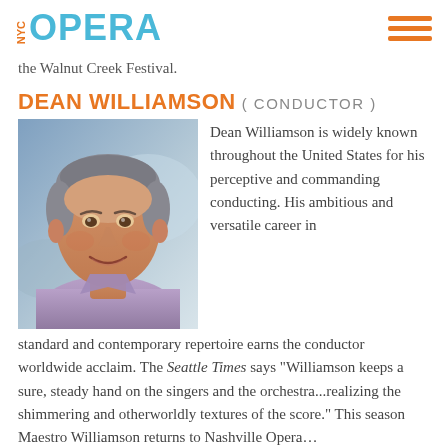NYC OPERA
the Walnut Creek Festival.
DEAN WILLIAMSON ( CONDUCTOR )
[Figure (photo): Headshot of Dean Williamson, a middle-aged man with gray hair, smiling, wearing a light purple shirt.]
Dean Williamson is widely known throughout the United States for his perceptive and commanding conducting. His ambitious and versatile career in standard and contemporary repertoire earns the conductor worldwide acclaim. The Seattle Times says "Williamson keeps a sure, steady hand on the singers and the orchestra...realizing the shimmering and otherworldly textures of the score." This season Maestro Williamson returns to Nashville Opera…